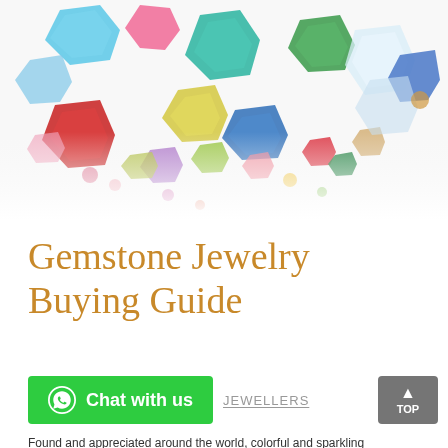[Figure (photo): A pile of colorful faceted gemstones of various cuts, colors and sizes scattered on a white background. Colors include blue, red, green, yellow, pink, purple, teal, and clear crystals.]
Gemstone Jewelry Buying Guide
Chat with us   JEWELLERS
Found and appreciated around the world, colorful and sparkling